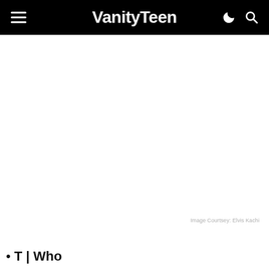VanityTeen
[Figure (photo): Large white/blank image area in the center of the page]
Image Courtsey: Elvis Kachi
T | Who